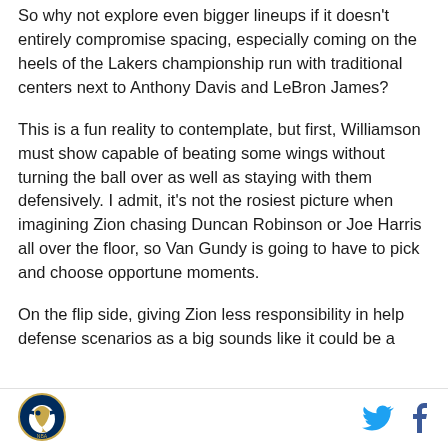So why not explore even bigger lineups if it doesn't entirely compromise spacing, especially coming on the heels of the Lakers championship run with traditional centers next to Anthony Davis and LeBron James?
This is a fun reality to contemplate, but first, Williamson must show capable of beating some wings without turning the ball over as well as staying with them defensively. I admit, it's not the rosiest picture when imagining Zion chasing Duncan Robinson or Joe Harris all over the floor, so Van Gundy is going to have to pick and choose opportune moments.
On the flip side, giving Zion less responsibility in help defense scenarios as a big sounds like it could be a
[Figure (logo): Circular logo with a pelican/bird illustration in blue and gold tones]